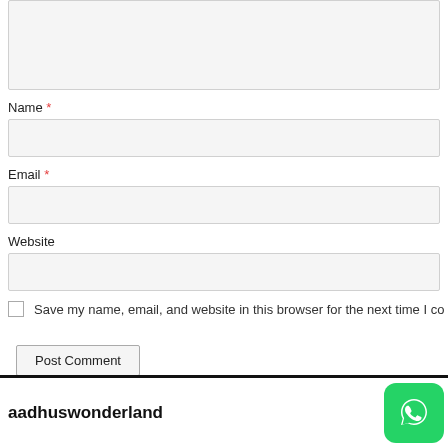[textarea field - top, partially visible]
Name *
[Name input field]
Email *
[Email input field]
Website
[Website input field]
Save my name, email, and website in this browser for the next time I co
Post Comment
aadhuswonderland
[Figure (logo): WhatsApp logo icon on green rounded square background]